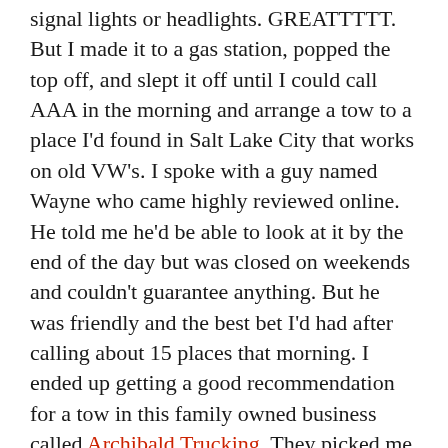signal lights or headlights. GREATTTTT. But I made it to a gas station, popped the top off, and slept it off until I could call AAA in the morning and arrange a tow to a place I'd found in Salt Lake City that works on old VW's. I spoke with a guy named Wayne who came highly reviewed online. He told me he'd be able to look at it by the end of the day but was closed on weekends and couldn't guarantee anything. But he was friendly and the best bet I'd had after calling about 15 places that morning. I ended up getting a good recommendation for a tow in this family owned business called Archibald Trucking. They picked me up promptly, a father and son, and we talked the whole 60 miles to Salt Lake about life, traveling, and speaking different languages. As Mosey was being loaded onto the tow truck I was snapping a photo with my phone and it dropped, smashed on the gravel, and then refused to even turn on. I immediately just laughed and wondered if this entire day was going to continue like this. I now had no wheels, or house, or phone, yahoo! The Archibald men let me borrow